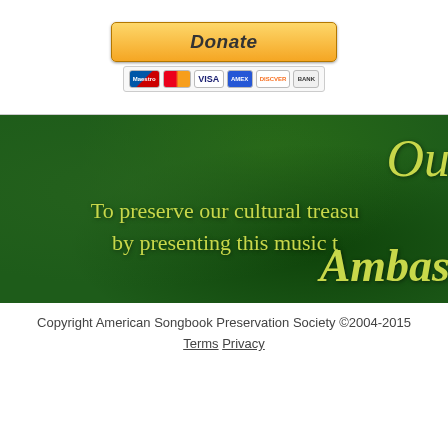[Figure (screenshot): PayPal Donate button with payment card icons (Maestro, MasterCard, Visa, Amex, Discover, Bank)]
[Figure (photo): Dark green textured banner image with yellow-green italic text partially visible: 'Ou' at top right, 'To preserve our cultural treasu...' and 'by presenting this music t...' in center, 'Ambas' at bottom right]
Copyright American Songbook Preservation Society ©2004-2015
Terms  Privacy